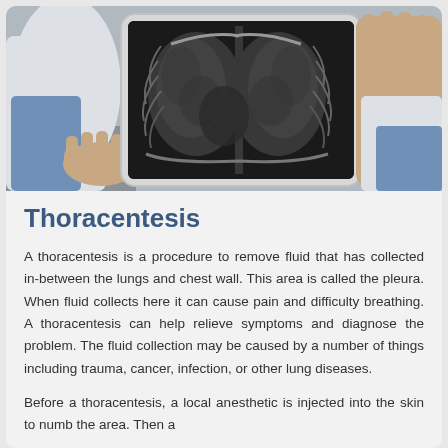[Figure (photo): A doctor or medical professional holding a tablet/iPad displaying a chest X-ray image showing lungs. The person is wearing a white coat and blue shirt. The X-ray shows a frontal view of the thoracic cavity.]
Thoracentesis
A thoracentesis is a procedure to remove fluid that has collected in-between the lungs and chest wall. This area is called the pleura. When fluid collects here it can cause pain and difficulty breathing. A thoracentesis can help relieve symptoms and diagnose the problem. The fluid collection may be caused by a number of things including trauma, cancer, infection, or other lung diseases.
Before a thoracentesis, a local anesthetic is injected into the skin to numb the area. Then a